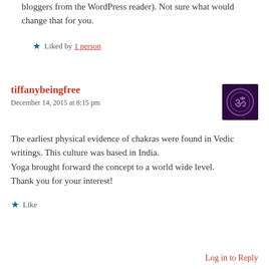bloggers from the WordPress reader). Not sure what would change that for you.
Liked by 1 person
tiffanybeingfree
December 14, 2015 at 8:15 pm
The earliest physical evidence of chakras were found in Vedic writings. This culture was based in India.
Yoga brought forward the concept to a world wide level.
Thank you for your interest!
Like
Log in to Reply